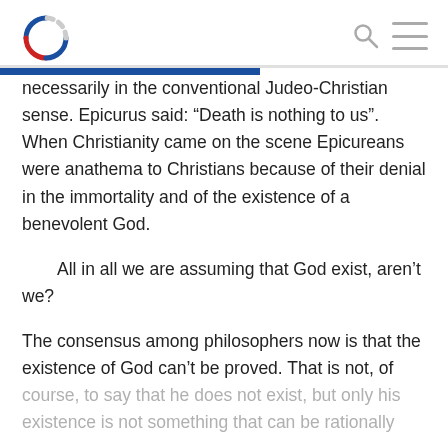[Logo] [Search icon] [Menu icon]
necessarily in the conventional Judeo-Christian sense. Epicurus said: “Death is nothing to us”. When Christianity came on the scene Epicureans were anathema to Christians because of their denial in the immortality and of the existence of a benevolent God.
All in all we are assuming that God exist, aren’t we?
The consensus among philosophers now is that the existence of God can’t be proved. That is not, of course, to say that he does not exist, but only his existence is not something that can be rationally